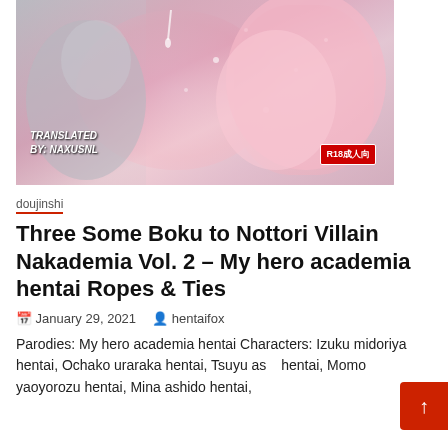[Figure (illustration): Manga/doujinshi cover art showing anime characters with text 'TRANSLATED BY: NAXUSNL' and 'R18成人向' badge]
doujinshi
Three Some Boku to Nottori Villain Nakademia Vol. 2 – My hero academia hentai Ropes & Ties
January 29, 2021   hentaifox
Parodies: My hero academia hentai Characters: Izuku midoriya hentai, Ochako uraraka hentai, Tsuyu as hentai, Momo yaoyorozu hentai, Mina ashido hentai,